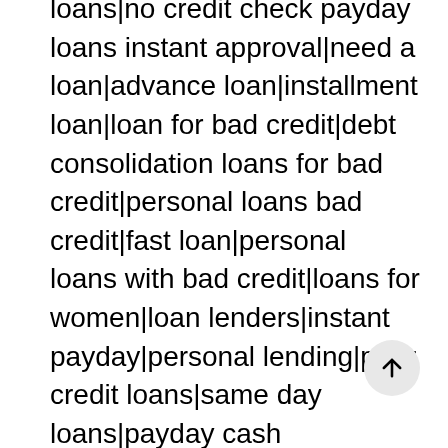loans|no credit check payday loans instant approval|need a loan|advance loan|installment loan|loan for bad credit|debt consolidation loans for bad credit|personal loans bad credit|fast loan|personal loans with bad credit|loans for women|loan lenders|instant payday|personal lending|poor credit loans|same day loans|payday cash advance|need money now|payday loans no credit check same day|bad credit payday|loan no credit|loan bad credit|same day payday loans no credit check|installment loans no credit|a payday loan|online payday loans instant approval|payday loan online|cash payday loans online|personal loans for people with bad credit|no fax payday loan|loan no credit check|quick money|easy payday|pay day loan|quick cash loans|direct lending|emergency loans|lenders for bad credit|advance payday loan|fast cash loans|easy loans|loan money|best personal loan|secured loans|payday loan lenders|low interest personal